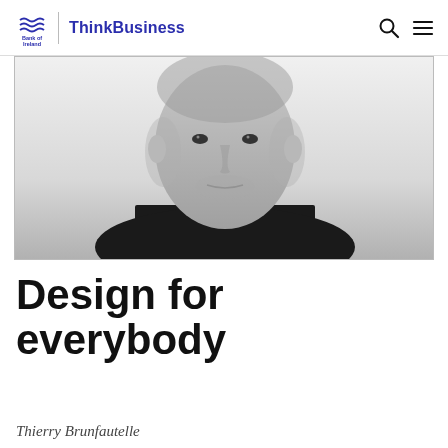Bank of Ireland | ThinkBusiness
[Figure (photo): Black and white portrait photo of a bald man wearing a black t-shirt, facing the camera against a light background]
Design for everybody
Thierry Brunfautelle